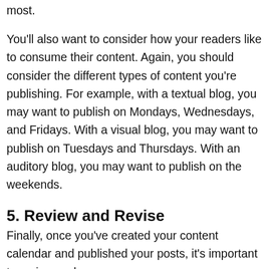most.
You'll also want to consider how your readers like to consume their content. Again, you should consider the different types of content you're publishing. For example, with a textual blog, you may want to publish on Mondays, Wednesdays, and Fridays. With a visual blog, you may want to publish on Tuesdays and Thursdays. With an auditory blog, you may want to publish on the weekends.
5. Review and Revise
Finally, once you've created your content calendar and published your posts, it's important to review and